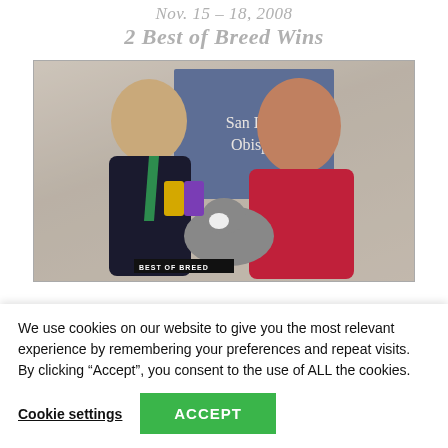Nov. 15 – 18, 2008
2 Best of Breed Wins
[Figure (photo): A man in a dark suit with a green tie and a woman in a red floral dress pose with a small black and white dog at a San Luis Obispo dog kennel show. A 'Best of Breed' sign is visible in the foreground and a blue 'San Luis Obispo' banner is in the background.]
We use cookies on our website to give you the most relevant experience by remembering your preferences and repeat visits. By clicking “Accept”, you consent to the use of ALL the cookies.
Cookie settings
ACCEPT